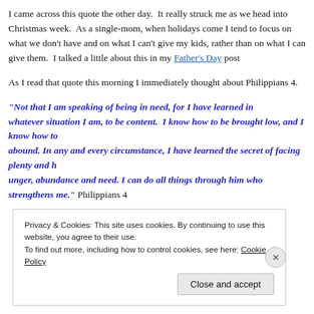I came across this quote the other day.  It really struck me as we head into Christmas week.  As a single-mom, when holidays come I tend to focus on what we don't have and on what I can't give my kids, rather than on what I can give them.  I talked a little about this in my Father's Day post…
As I read that quote this morning I immediately thought about Philippians 4.
“Not that I am speaking of being in need, for I have learned in whatever situation I am, to be content.  I know how to be brought low, and I know how to abound. In any and every circumstance, I have learned the secret of facing plenty and hunger, abundance and need. I can do all things through him who strengthens me.”  Philippians 4…
Privacy & Cookies: This site uses cookies. By continuing to use this website, you agree to their use.
To find out more, including how to control cookies, see here: Cookie Policy
Close and accept